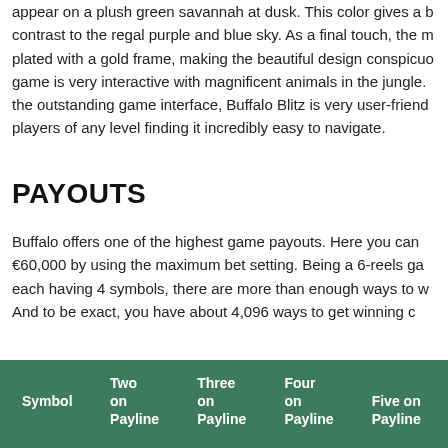appear on a plush green savannah at dusk. This color gives a beautiful contrast to the regal purple and blue sky. As a final touch, the m plated with a gold frame, making the beautiful design conspicuo game is very interactive with magnificent animals in the jungle. the outstanding game interface, Buffalo Blitz is very user-friend players of any level finding it incredibly easy to navigate.
PAYOUTS
Buffalo offers one of the highest game payouts. Here you can €60,000 by using the maximum bet setting. Being a 6-reels ga each having 4 symbols, there are more than enough ways to w And to be exact, you have about 4,096 ways to get winning c
| Symbol | Two on Payline | Three on Payline | Four on Payline | Five on Payline |
| --- | --- | --- | --- | --- |